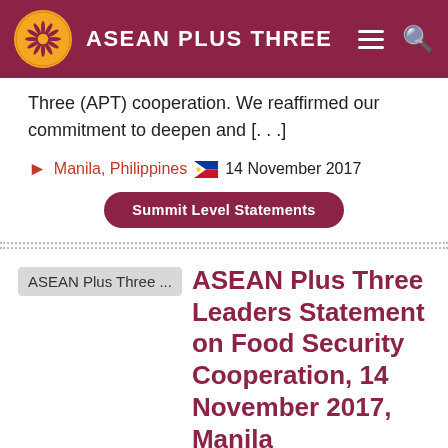ASEAN PLUS THREE
Three (APT) cooperation. We reaffirmed our commitment to deepen and [. . .]
Manila, Philippines  14 November 2017
Summit Level Statements
ASEAN Plus Three ...
ASEAN Plus Three Leaders Statement on Food Security Cooperation, 14 November 2017, Manila